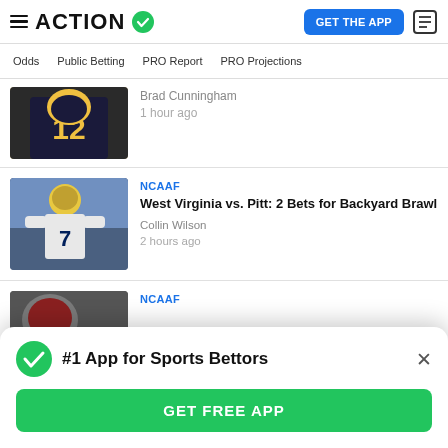ACTION | GET THE APP
Odds | Public Betting | PRO Report | PRO Projections
[Figure (photo): Football player wearing jersey number 12 in dark uniform]
Brad Cunningham
1 hour ago
[Figure (photo): Football player wearing jersey number 7 in white uniform with gold helmet]
NCAAF
West Virginia vs. Pitt: 2 Bets for Backyard Brawl
Collin Wilson
2 hours ago
[Figure (photo): Partially visible football player]
NCAAF
#1 App for Sports Bettors
GET FREE APP